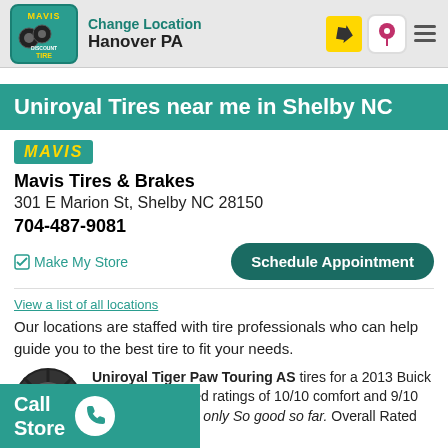Change Location
Hanover PA
Uniroyal Tires near me in Shelby NC
[Figure (logo): Mavis Discount Tire logo badge in teal]
Mavis Tires & Brakes
301 E Marion St, Shelby NC 28150
704-487-9081
Make My Store
Schedule Appointment
View a list of all locations
Our locations are staffed with tire professionals who can help guide you to the best tire to fit your needs.
Uniroyal Tiger Paw Touring AS tires for a 2013 Buick LaCrosse received ratings of 10/10 comfort and 9/10 Wet Traction. I've only So good so far. Overall Rated